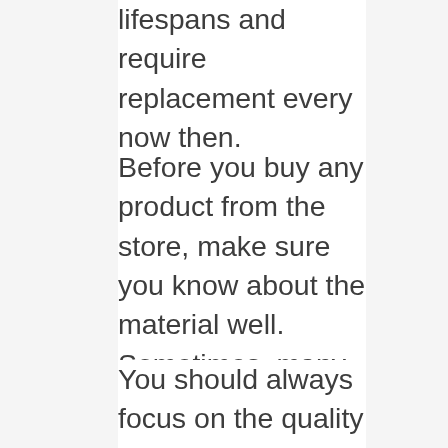lifespans and require replacement every now then.
Before you buy any product from the store, make sure you know about the material well. Sometimes, many people buy the wrong product even after spending a lot of bucks. Why do they do that? Probably because they don't know which material ensures ultimate durability.
You should always focus on the quality of a product before getting it. Make sure it's sturdy and built to last. No matter whether it's made of wood, metal, plastic, aluminum or steel